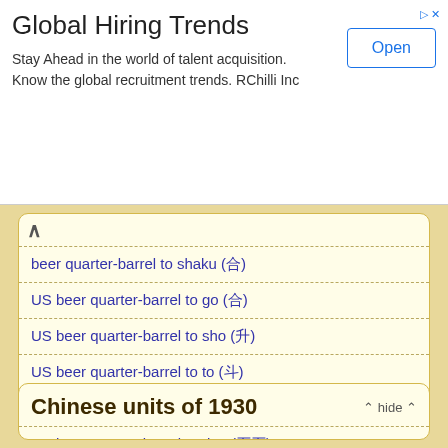[Figure (other): Advertisement banner: Global Hiring Trends. Stay Ahead in the world of talent acquisition. Know the global recruitment trends. RChilli Inc. With an 'Open' button.]
beer quarter-barrel to shaku (合)
US beer quarter-barrel to go (合)
US beer quarter-barrel to sho (升)
US beer quarter-barrel to to (斗)
US beer quarter-barrel to koku (石)
Chinese units of 1930
US beer quarter-barrel to dan (石石)
US beer quarter-barrel to dou (石石)
US beer quarter-barrel to sheng (石石)
US beer quarter-barrel to ge (石)
US beer quarter-barrel to shao (石)
US beer quarter-barrel to cuo (石)